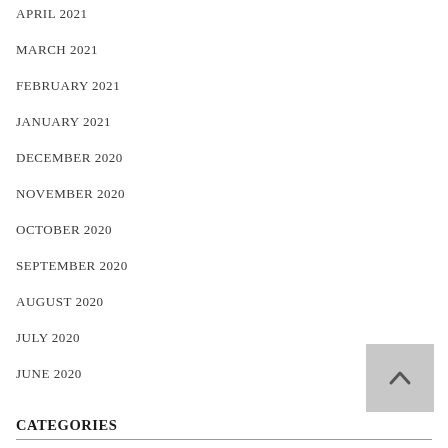APRIL 2021
MARCH 2021
FEBRUARY 2021
JANUARY 2021
DECEMBER 2020
NOVEMBER 2020
OCTOBER 2020
SEPTEMBER 2020
AUGUST 2020
JULY 2020
JUNE 2020
CATEGORIES